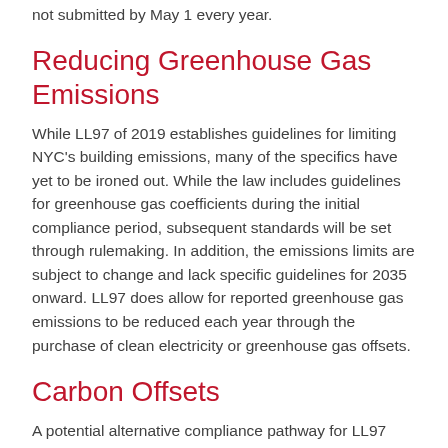not submitted by May 1 every year.
Reducing Greenhouse Gas Emissions
While LL97 of 2019 establishes guidelines for limiting NYC's building emissions, many of the specifics have yet to be ironed out. While the law includes guidelines for greenhouse gas coefficients during the initial compliance period, subsequent standards will be set through rulemaking. In addition, the emissions limits are subject to change and lack specific guidelines for 2035 onward. LL97 does allow for reported greenhouse gas emissions to be reduced each year through the purchase of clean electricity or greenhouse gas offsets.
Carbon Offsets
A potential alternative compliance pathway for LL97 compliance is through carbon offsets. During the first compliance period, up to 10 percent of a building's annual emissions limit can be deducted with the purchase of